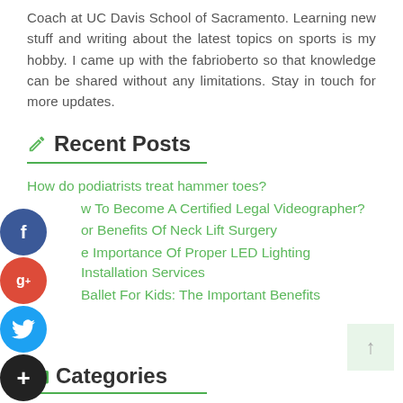Coach at UC Davis School of Sacramento. Learning new stuff and writing about the latest topics on sports is my hobby. I came up with the fabrioberto so that knowledge can be shared without any limitations. Stay in touch for more updates.
Recent Posts
How do podiatrists treat hammer toes?
How To Become A Certified Legal Videographer?
Major Benefits Of Neck Lift Surgery
The Importance Of Proper LED Lighting Installation Services
Ballet For Kids: The Important Benefits
Categories